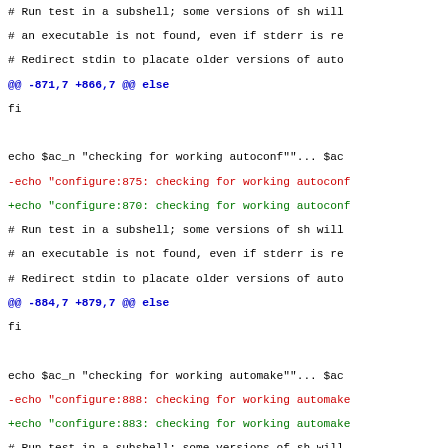# Run test in a subshell; some versions of sh will
 # an executable is not found, even if stderr is re
 # Redirect stdin to placate older versions of auto
@@ -871,7 +866,7 @@ else
 fi

 echo $ac_n "checking for working autoconf""... $ac
-echo "configure:875: checking for working autoconf
+echo "configure:870: checking for working autoconf
 # Run test in a subshell; some versions of sh will
 # an executable is not found, even if stderr is re
 # Redirect stdin to placate older versions of auto
@@ -884,7 +879,7 @@ else
 fi

 echo $ac_n "checking for working automake""... $ac
-echo "configure:888: checking for working automake
+echo "configure:883: checking for working automake
 # Run test in a subshell; some versions of sh will
 # an executable is not found, even if stderr is re
 # Redirect stdin to placate older versions of auto
@@ -897,7 +892,7 @@ else
 fi

 echo $ac_n "checking for working autoheader""... $
-echo "configure:901: checking for working authead
+echo "configure:896: checking for working autohead
 # Run test in a subshell; some versions of sh will
 # an executable is not found, even if stderr is re
 # Redirect stdin to placate older versions of auto